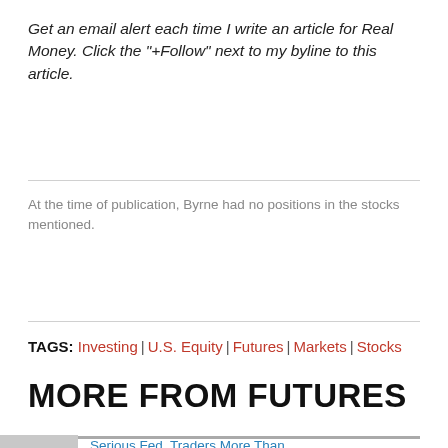Get an email alert each time I write an article for Real Money. Click the "+Follow" next to my byline to this article.
At the time of publication, Byrne had no positions in the stocks mentioned.
TAGS: Investing | U.S. Equity | Futures | Markets | Stocks
MORE FROM FUTURES
Serious Fed, Traders More Than Investors Try Day Extra 2M Tradi...